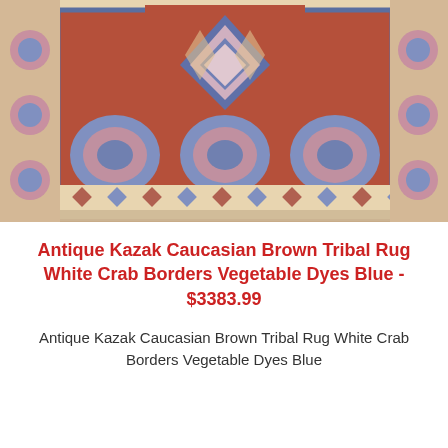[Figure (photo): Close-up photograph of an antique Kazak Caucasian tribal rug with brown, red, blue, and cream colors featuring geometric medallion patterns, floral borders, and crab border motifs with vegetable dyes.]
Antique Kazak Caucasian Brown Tribal Rug White Crab Borders Vegetable Dyes Blue - $3383.99
Antique Kazak Caucasian Brown Tribal Rug White Crab Borders Vegetable Dyes Blue